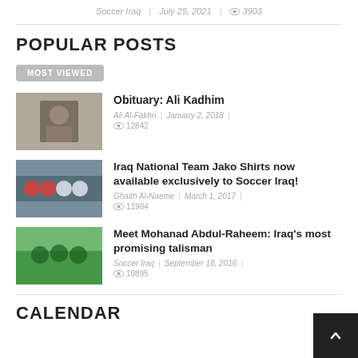Soccer Iraq | July 25, 2021 👁 3903
POPULAR POSTS
MOST VIEWED
Obituary: Ali Kadhim — Ali Al-Fakhri | January 2, 2018 | 👁 12842
Iraq National Team Jako Shirts now available exclusively to Soccer Iraq! — Ghaith Al-Naeme | March 1, 2017 | 👁 11984
Meet Mohanad Abdul-Raheem: Iraq's most promising talisman — Soccer Iraq | September 18, 2016 | 👁 10895
CALENDAR